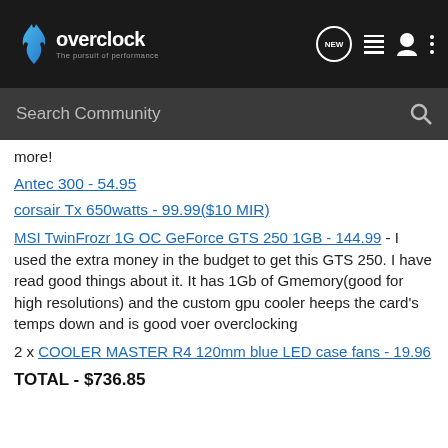overclock - The pursuit of performance
more!
Antec 300 - 54.95
corsair Tx 650watts - 99.99($10 MIR)
MSI TwinFrozr 1G OC GeForce GTS 250 1GB - 144.99 - I used the extra money in the budget to get this GTS 250. I have read good things about it. It has 1Gb of Gmemory(good for high resolutions) and the custom gpu cooler heeps the card's temps down and is good voer overclocking
2 x COOLER MASTER R4 120mm blue LED case fans - 19.96
TOTAL - $736.85